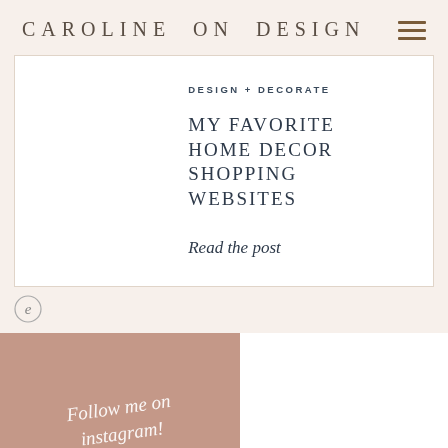CAROLINE ON DESIGN
DESIGN + DECORATE
MY FAVORITE HOME DECOR SHOPPING WEBSITES
Read the post
[Figure (logo): Small circular Etsy-style logo icon]
[Figure (illustration): Dusty rose/mauve square with cursive script text reading 'Follow me on instagram!']